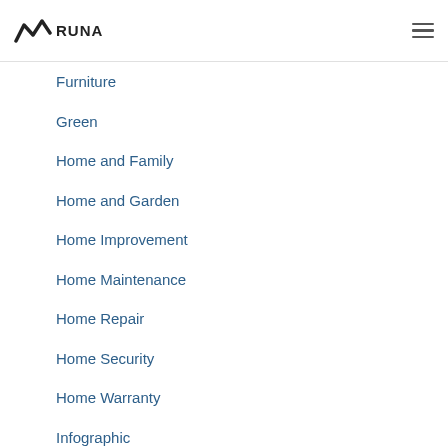RUNA
Furniture
Green
Home and Family
Home and Garden
Home Improvement
Home Maintenance
Home Repair
Home Security
Home Warranty
Infographic